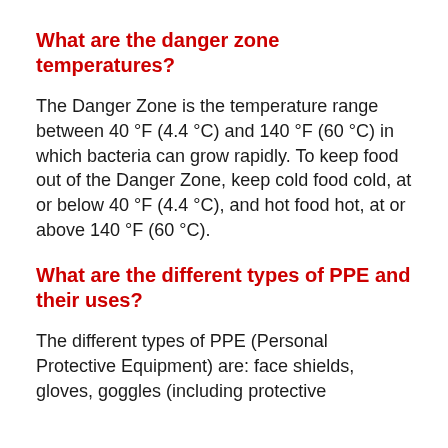What are the danger zone temperatures?
The Danger Zone is the temperature range between 40 °F (4.4 °C) and 140 °F (60 °C) in which bacteria can grow rapidly. To keep food out of the Danger Zone, keep cold food cold, at or below 40 °F (4.4 °C), and hot food hot, at or above 140 °F (60 °C).
What are the different types of PPE and their uses?
The different types of PPE (Personal Protective Equipment) are: face shields, gloves, goggles (including protective